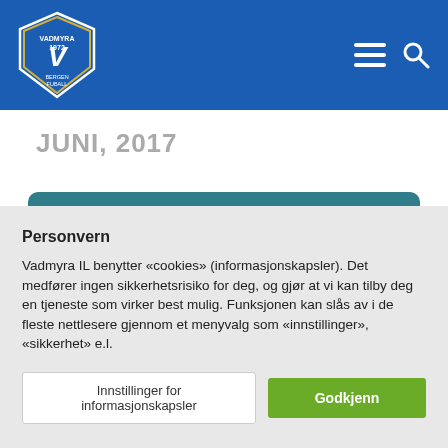Vadmyra IL — navigation header with logo, hamburger menu, and search icon
JUNI, 2017
[Figure (other): Teal event card showing SØN 11 JUN with event title partially visible]
Personvern
Vadmyra IL benytter «cookies» (informasjonskapsler). Det medfører ingen sikkerhetsrisiko for deg, og gjør at vi kan tilby deg en tjeneste som virker best mulig. Funksjonen kan slås av i de fleste nettlesere gjennom et menyvalg som «innstillinger», «sikkerhet» e.l.
Innstillinger for informasjonskapsler | Godkjenn